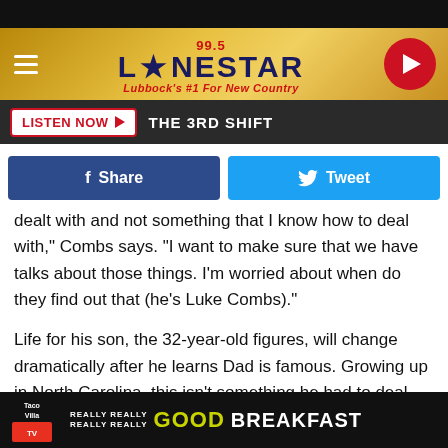[Figure (screenshot): 99.5 Lonestar radio station header banner with logo, hamburger menu, and play button]
LISTEN NOW ▶  THE 3RD SHIFT
[Figure (other): Facebook Share and Twitter Tweet social sharing buttons]
dealt with and not something that I know how to deal with," Combs says. "I want to make sure that we have talks about those things. I'm worried about when do they find out that (he's Luke Combs)."
Life for his son, the 32-year-old figures, will change dramatically after he learns Dad is famous. Growing up in North Carolina, this isn't something he had to deal with. Both
[Figure (other): Taco Villa advertisement banner: REALLY REALLY REALLY REALLY GOOD BREAKFAST]